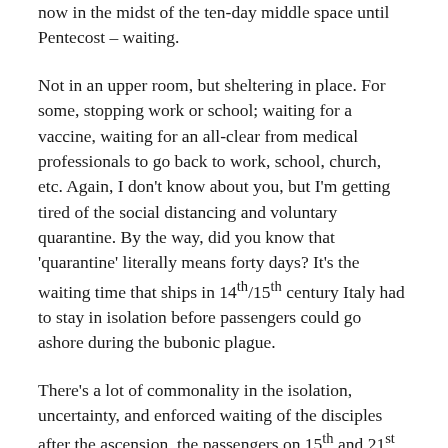now in the midst of the ten-day middle space until Pentecost – waiting.
Not in an upper room, but sheltering in place. For some, stopping work or school; waiting for a vaccine, waiting for an all-clear from medical professionals to go back to work, school, church, etc. Again, I don't know about you, but I'm getting tired of the social distancing and voluntary quarantine. By the way, did you know that 'quarantine' literally means forty days? It's the waiting time that ships in 14th/15th century Italy had to stay in isolation before passengers could go ashore during the bubonic plague.
There's a lot of commonality in the isolation, uncertainty, and enforced waiting of the disciples after the ascension, the passengers on 15th and 21st century ships, and us – longing to get back into our